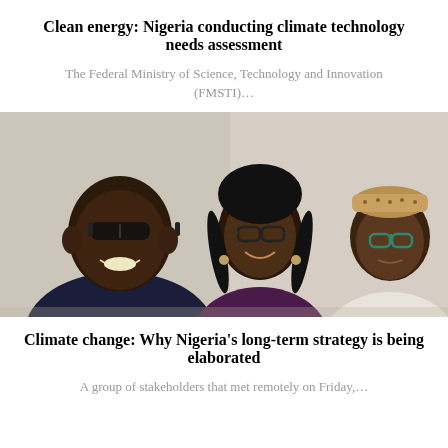Clean energy: Nigeria conducting climate technology needs assessment
The Federal Ministry of Science, Technology and Innovation (FMSTI)…
[Figure (photo): Three people posing together for a selfie photo indoors against a light wall. The person on the left is a man wearing dark clothing and sunglasses. The person in the center is a woman with braided hair and glasses. The person on the right is an older man wearing a traditional cap and light-colored garment.]
Climate change: Why Nigeria's long-term strategy is being elaborated
A group of stakeholders that met remotely on Friday,…